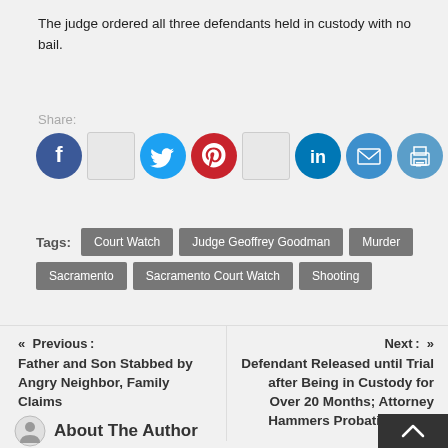The judge ordered all three defendants held in custody with no bail.
Share:
[Figure (infographic): Social media share icons: Facebook (blue circle), blank square, Twitter (blue circle), Pinterest (red circle), blank square, LinkedIn (blue circle), Email (blue circle), Print (blue circle)]
Tags: Court Watch | Judge Geoffrey Goodman | Murder | Sacramento | Sacramento Court Watch | Shooting
« Previous : Father and Son Stabbed by Angry Neighbor, Family Claims
Next : » Defendant Released until Trial after Being in Custody for Over 20 Months; Attorney Hammers Probation Dept.
About The Author